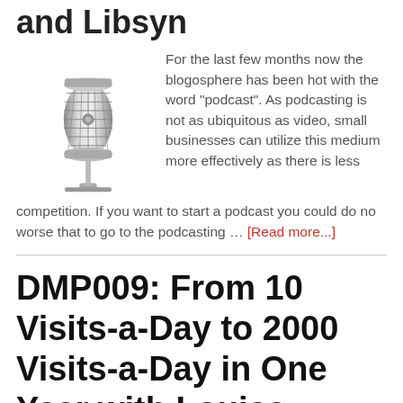and Libsyn
[Figure (photo): A vintage-style chrome microphone on a stand, silver/metallic color]
For the last few months now the blogosphere has been hot with the word "podcast". As podcasting is not as ubiquitous as video, small businesses can utilize this medium more effectively as there is less competition. If you want to start a podcast you could do no worse that to go to the podcasting … [Read more...]
DMP009: From 10 Visits-a-Day to 2000 Visits-a-Day in One Year with Louise Myers